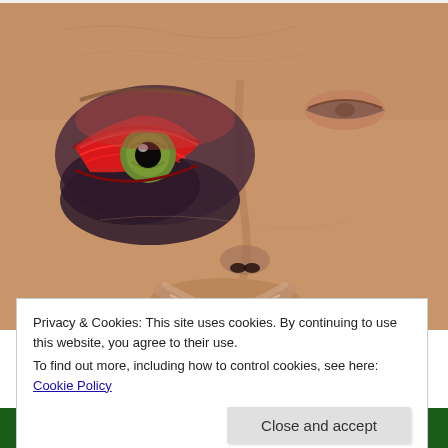[Figure (photo): Close-up photograph of a middle-aged man's face showing a severely injured left eye with subconjunctival hemorrhage, periorbital ecchymosis (black eye), swelling and bruising around the eye socket. The man has a reddish-brown goatee/mustache. The right eye is only partially visible. The injury appears to be blunt force trauma to the periorbital region.]
Privacy & Cookies: This site uses cookies. By continuing to use this website, you agree to their use.
To find out more, including how to control cookies, see here: Cookie Policy
Close and accept
MURDER MYSTERIES